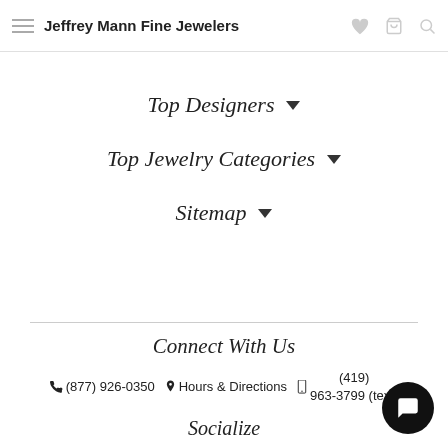Jeffrey Mann Fine Jewelers
Top Designers
Top Jewelry Categories
Sitemap
Connect With Us
(877) 926-0350   Hours & Directions   (419) 963-3799 (text)
Socialize
[Figure (other): Social media icons: Facebook, Instagram, Pinterest]